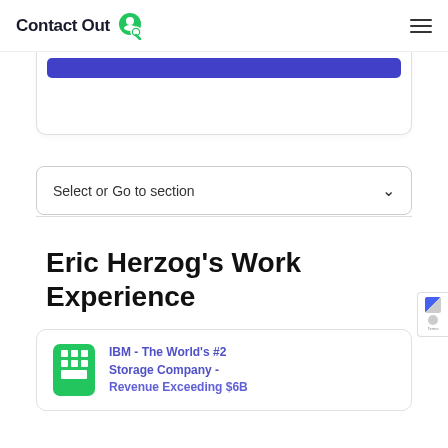ContactOut
Select or Go to section
Eric Herzog's Work Experience
IBM - The World's #2 Storage Company - Revenue Exceeding $6B